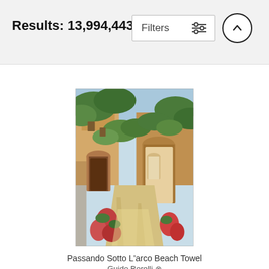Results: 13,994,443
[Figure (screenshot): Filters button with sliders icon and an up-arrow circle button in a gray header bar]
[Figure (photo): Painting of an Italian or Mediterranean village alley with arched doorways, stone buildings, lush green trees overhead, flowering plants, and a sunlit cobblestone path receding into the distance. The style is impressionistic and warm-toned.]
Passando Sotto L'arco Beach Towel
Guido Borelli ⊗